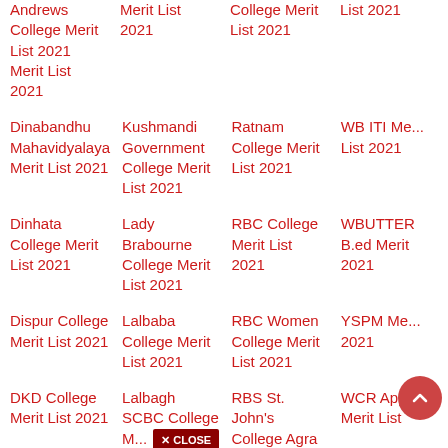Andrews College Merit List 2021
Merit List 2021
College Merit List 2021
List 2021
Dinabandhu Mahavidyalaya Merit List 2021
Kushmandi Government College Merit List 2021
Ratnam College Merit List 2021
WB ITI Merit List 2021
Dinhata College Merit List 2021
Lady Brabourne College Merit List 2021
RBC College Merit List 2021
WBUTTER B.ed Merit 2021
Dispur College Merit List 2021
Lalbaba College Merit List 2021
RBC Women College Merit List 2021
YSPM Merit 2021
DKD College Merit List 2021
Lalbagh SCBC College Merit 2021
RBS St. John's College Agra Merit List 2021
WCR Apprentice Merit List
Dr. Gour Mohan Roy College Merit List 2021
Lalgarh Government College Merit List
RDK College Merit List 2021
West Guw Commerce College Merit